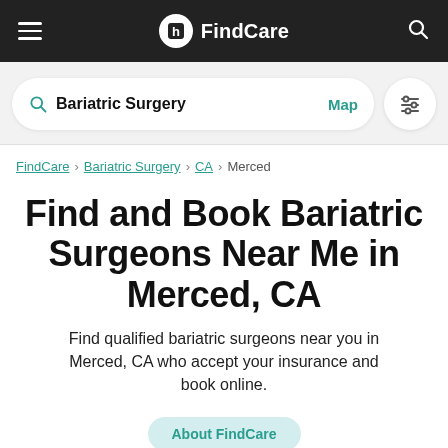FindCare
Bariatric Surgery  Map
FindCare › Bariatric Surgery › CA › Merced
Find and Book Bariatric Surgeons Near Me in Merced, CA
Find qualified bariatric surgeons near you in Merced, CA who accept your insurance and book online.
About FindCare